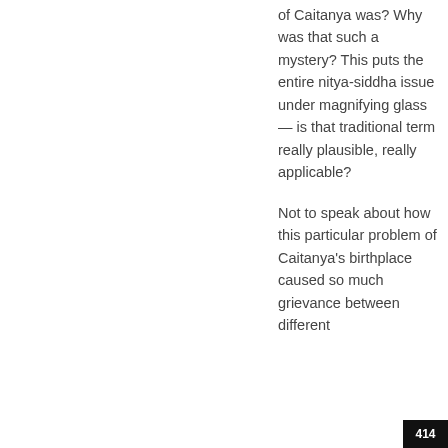of Caitanya was? Why was that such a mystery? This puts the entire nitya-siddha issue under magnifying glass — is that traditional term really plausible, really applicable?
Not to speak about how this particular problem of Caitanya's birthplace caused so much grievance between different
414